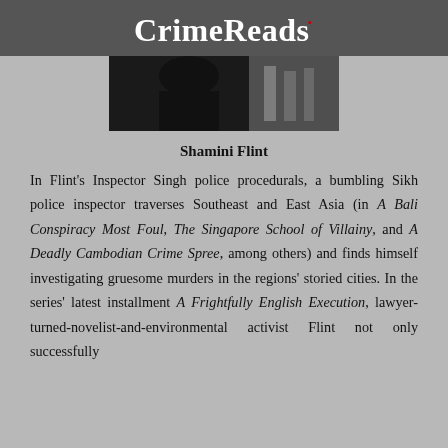CrimeReads
[Figure (photo): Partial photograph of a person in a dark setting with architectural elements visible in background]
Shamini Flint
In Flint's Inspector Singh police procedurals, a bumbling Sikh police inspector traverses Southeast and East Asia (in A Bali Conspiracy Most Foul, The Singapore School of Villainy, and A Deadly Cambodian Crime Spree, among others) and finds himself investigating gruesome murders in the regions' storied cities. In the series' latest installment A Frightfully English Execution, lawyer-turned-novelist-and-environmental activist Flint not only successfully